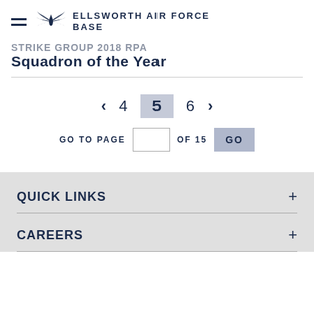ELLSWORTH AIR FORCE BASE
Squadron of the Year
Page 5 of 15 pagination — GO TO PAGE OF 15
QUICK LINKS
CAREERS